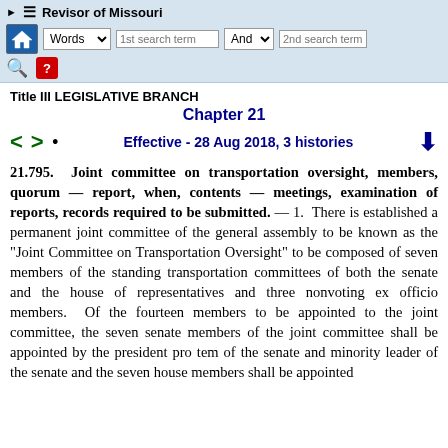Revisor of Missouri — toolbar with search
Title III LEGISLATIVE BRANCH
Chapter 21
Effective - 28 Aug 2018, 3 histories
21.795. Joint committee on transportation oversight, members, quorum — report, when, contents — meetings, examination of reports, records required to be submitted. — 1. There is established a permanent joint committee of the general assembly to be known as the "Joint Committee on Transportation Oversight" to be composed of seven members of the standing transportation committees of both the senate and the house of representatives and three nonvoting ex officio members. Of the fourteen members to be appointed to the joint committee, the seven senate members of the joint committee shall be appointed by the president pro tem of the senate and minority leader of the senate and the seven house members shall be appointed